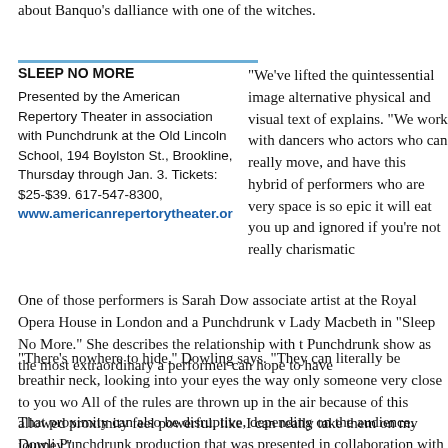about Banquo’s dalliance with one of the witches.
SLEEP NO MORE
Presented by the American Repertory Theater in association with Punchdrunk at the Old Lincoln School, 194 Boylston St., Brookline, Thursday through Jan. 3. Tickets: $25-$39. 617-547-8300, www.americanrepertorytheater.or
“We’ve lifted the quintessential image alternative physical and visual text of explains. “We work with dancers who actors who can really move, and have this hybrid of performers who are very space is so epic it will eat you up and ignored if you’re not really charismatic
One of those performers is Sarah Dow associate artist at the Royal Opera House in London and a Punchdrunk v Lady Macbeth in “Sleep No More.” She describes the relationship with t Punchdrunk show as the most extraordinary a performer can hope to have
“There’s nowhere to hide,’’ Dowling says. “They can literally be breathir neck, looking into your eyes the way only someone very close to you wo All of the rules are thrown up in the air because of this allowed proximity feel powerful, like I can really take them on my journey.’’
That proximity can also be disruptive, depending on the audience. Dowli Punchdrunk production that was presented in collaboration with Britain’s